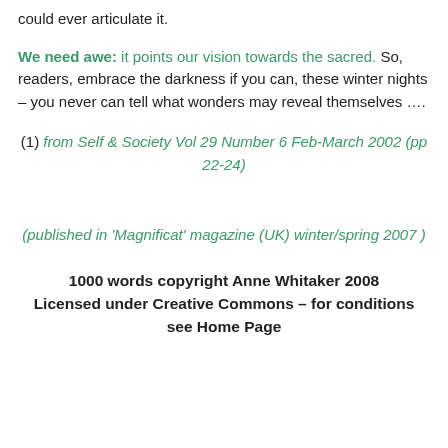could ever articulate it.
We need awe: it points our vision towards the sacred. So, readers, embrace the darkness if you can, these winter nights – you never can tell what wonders may reveal themselves ….
(1) from Self & Society Vol 29 Number 6 Feb-March 2002 (pp 22-24)
(published in 'Magnificat' magazine (UK) winter/spring 2007 )
1000 words copyright Anne Whitaker 2008
Licensed under Creative Commons – for conditions see Home Page